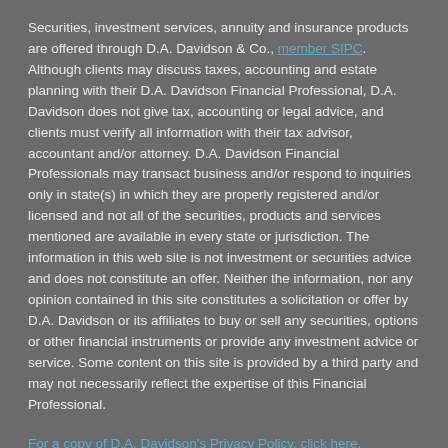Securities, investment services, annuity and insurance products are offered through D.A. Davidson & Co., member SIPC. Although clients may discuss taxes, accounting and estate planning with their D.A. Davidson Financial Professional, D.A. Davidson does not give tax, accounting or legal advice, and clients must verify all information with their tax advisor, accountant and/or attorney. D.A. Davidson Financial Professionals may transact business and/or respond to inquiries only in state(s) in which they are properly registered and/or licensed and not all of the securities, products and services mentioned are available in every state or jurisdiction. The information in this web site is not investment or securities advice and does not constitute an offer. Neither the information, nor any opinion contained in this site constitutes a solicitation or offer by D.A. Davidson or its affiliates to buy or sell any securities, options or other financial instruments or provide any investment advice or service. Some content on this site is provided by a third party and may not necessarily reflect the expertise of this Financial Professional.
For a copy of D.A. Davidson's Privacy Policy, click here.